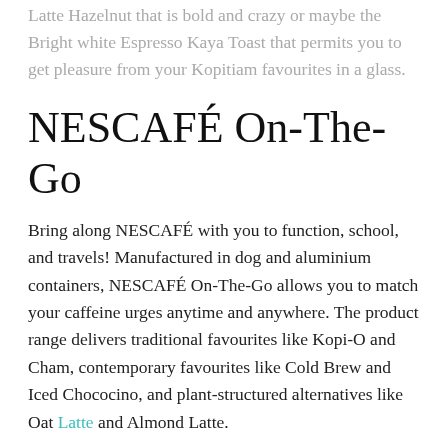Latte Hazelnut that is bold and crazy or maybe the Bright white Espresso Kaya Toast that permits you to get pleasure from your Kopitiam favourites in a glass.
NESCAFÉ On-The-Go
Bring along NESCAFÉ with you to function, school, and travels! Manufactured in dog and aluminium containers, NESCAFÉ On-The-Go allows you to match your caffeine urges anytime and anywhere. The product range delivers traditional favourites like Kopi-O and Cham, contemporary favourites like Cold Brew and Iced Chococino, and plant-structured alternatives like Oat Latte and Almond Latte.
NESCAFÉ Coffee